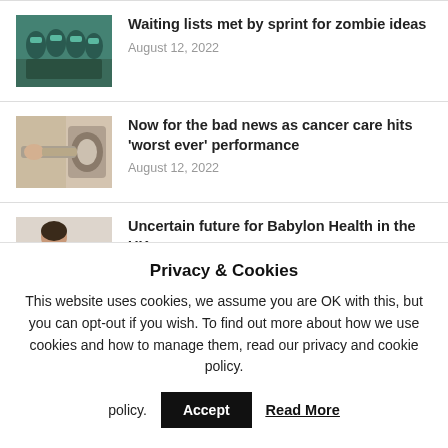[Figure (photo): Photo of surgeons in green scrubs operating in a surgical theatre]
Waiting lists met by sprint for zombie ideas
August 12, 2022
[Figure (photo): Photo of a patient undergoing an MRI or medical scan procedure]
Now for the bad news as cancer care hits ‘worst ever’ performance
August 12, 2022
[Figure (photo): Photo of a woman holding a tablet or phone]
Uncertain future for Babylon Health in the UK
Privacy & Cookies
This website uses cookies, we assume you are OK with this, but you can opt-out if you wish. To find out more about how we use cookies and how to manage them, read our privacy and cookie policy.